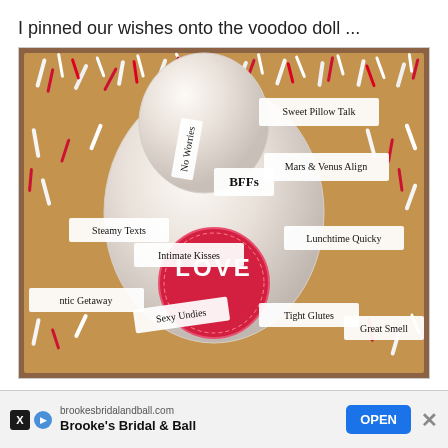I pinned our wishes onto the voodoo doll ...
[Figure (photo): A box filled with red and white shredded paper confetti containing a satin/silk voodoo doll or pillow with a red LOVE stamp circle and multiple white paper tags with handwritten wishes: Sweet Pillow Talk, Mars & Venus Align, BFFs, No Worries, Steamy Texts, Intimate Kisses, Lunchtime Quicky, Romantic Getaway, Sexy Undies, Tight Glutes, Great Smell]
brookesbridalandball.com
Brooke's Bridal & Ball
OPEN